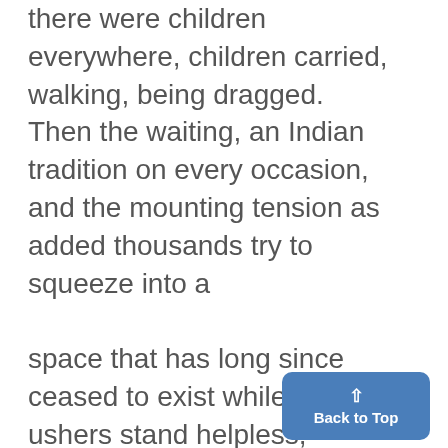there were children everywhere, children carried, walking, being dragged. Then the waiting, an Indian tradition on every occasion, and the mounting tension as added thousands try to squeeze into a space that has long since ceased to exist while the ushers stand helpless, mumbling gentle words about the confusion. And then of course the speeches, as ,always IN THIS SETTING President